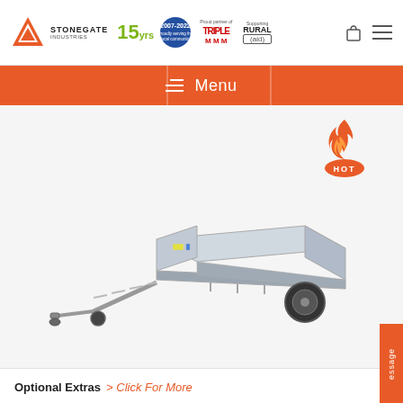[Figure (logo): Stonegate Industries logo with triangle, 15 years badge, 2007-2022 Proudly serving the local community badge, Proud partner Triple M logo, Supporting Rural Aid logo]
Menu
[Figure (photo): Galvanised single-axle flatbed trailer with hitch and ladder rack, HOT badge with flame icon overlay in upper right]
Optional Extras > Click For More